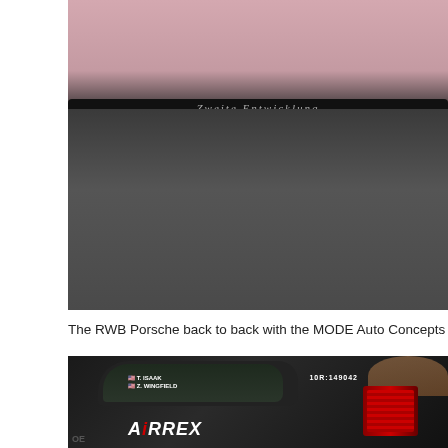[Figure (photo): Close-up photo from above of the rear spoiler of a pink/light-colored RWB Porsche on asphalt. The spoiler reads 'Zweite Entwicklung' in silver lettering against a black spoiler bar.]
The RWB Porsche back to back with the MODE Auto Concepts Liberty W
[Figure (photo): Photo of the rear quarter of a black BMW race/show car. Driver labels on the window show T. ISAAK and Z. WINGFIELD with flag icons. An AIRREX logo appears on the door. Tail lights are visible on the right side. A number sticker reads 10R:149042 on the right. People visible in background. MODE logo visible bottom left.]